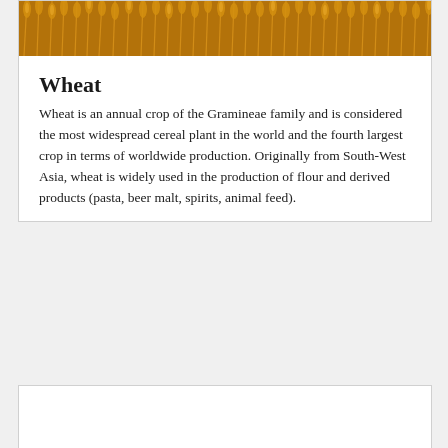[Figure (photo): Close-up photograph of wheat stalks with golden grain heads]
Wheat
Wheat is an annual crop of the Gramineae family and is considered the most widespread cereal plant in the world and the fourth largest crop in terms of worldwide production. Originally from South-West Asia, wheat is widely used in the production of flour and derived products (pasta, beer malt, spirits, animal feed).